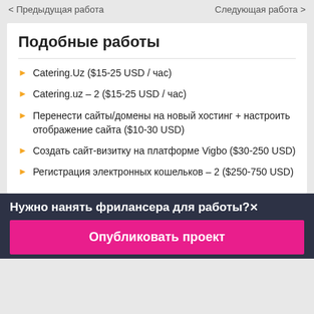< Предыдущая работа    Следующая работа >
Подобные работы
Catering.Uz ($15-25 USD / час)
Catering.uz – 2 ($15-25 USD / час)
Перенести сайты/домены на новый хостинг + настроить отображение сайта ($10-30 USD)
Создать сайт-визитку на платформе Vigbo ($30-250 USD)
Регистрация электронных кошельков – 2 ($250-750 USD)
Нужно нанять фрилансера для работы?✕
Опубликовать проект